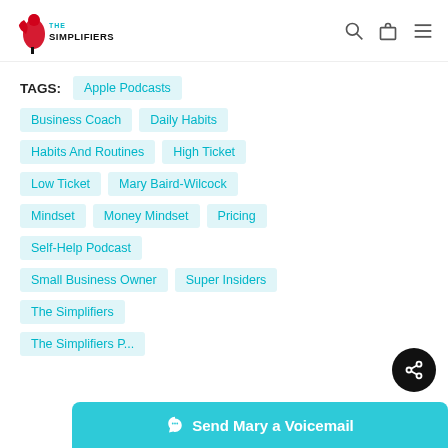The Simplifiers
TAGS: Apple Podcasts
Business Coach
Daily Habits
Habits And Routines
High Ticket
Low Ticket
Mary Baird-Wilcock
Mindset
Money Mindset
Pricing
Self-Help Podcast
Small Business Owner
Super Insiders
The Simplifiers
The Simplifiers P...
Send Mary a Voicemail